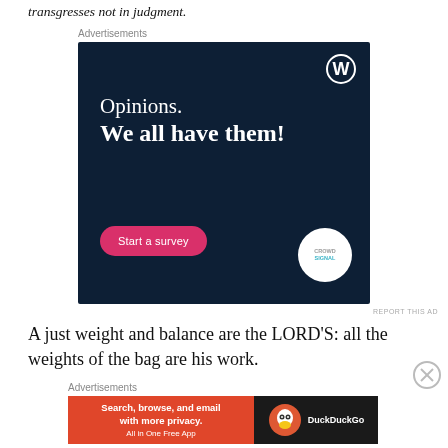transgresses not in judgment.
Advertisements
[Figure (screenshot): WordPress/Crowdsignal advertisement with dark navy background. Text reads 'Opinions. We all have them!' with a pink 'Start a survey' button and Crowdsignal logo badge. WordPress logo in top right corner.]
REPORT THIS AD
A just weight and balance are the LORD'S: all the weights of the bag are his work.
Advertisements
[Figure (screenshot): DuckDuckGo advertisement. Left orange section reads 'Search, browse, and email with more privacy. All in One Free App'. Right dark section shows DuckDuckGo duck logo and brand name.]
REPORT THIS AD